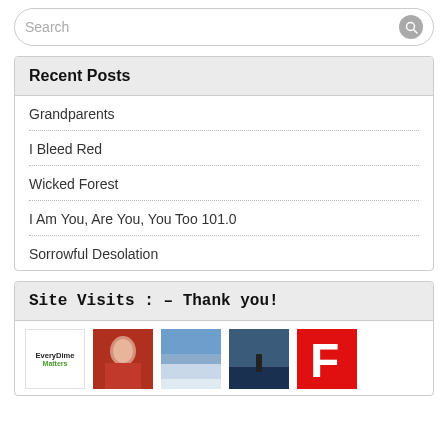Search
Recent Posts
Grandparents
I Bleed Red
Wicked Forest
I Am You, Are You, You Too 101.0
Sorrowful Desolation
Site Visits : – Thank you!
[Figure (other): Row of thumbnail images showing site visitors/linked blogs]